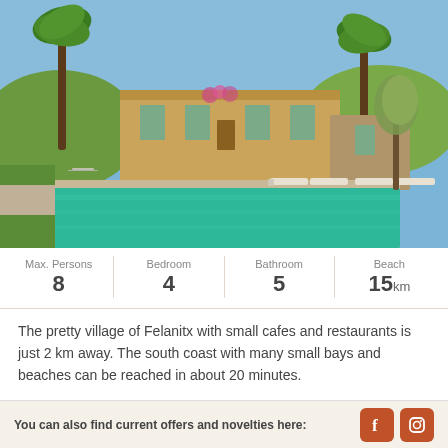[Figure (photo): Exterior photo of a Mediterranean villa with yellow-painted walls, palm trees and olive trees, with a large rectangular turquoise swimming pool in the foreground and sun loungers arranged around the pool area.]
| Max. Persons | Bedroom | Bathroom | Beach |
| --- | --- | --- | --- |
| 8 | 4 | 5 | 15km |
The pretty village of Felanitx with small cafes and restaurants is just 2 km away. The south coast with many small bays and beaches can be reached in about 20 minutes.
You can also find current offers and novelties here: